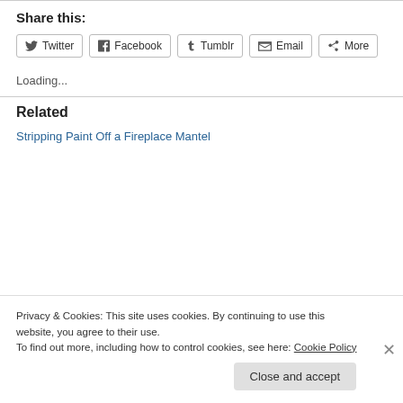Share this:
Twitter  Facebook  Tumblr  Email  More
Loading...
Related
Stripping Paint Off a Fireplace Mantel
Privacy & Cookies: This site uses cookies. By continuing to use this website, you agree to their use.
To find out more, including how to control cookies, see here: Cookie Policy
Close and accept